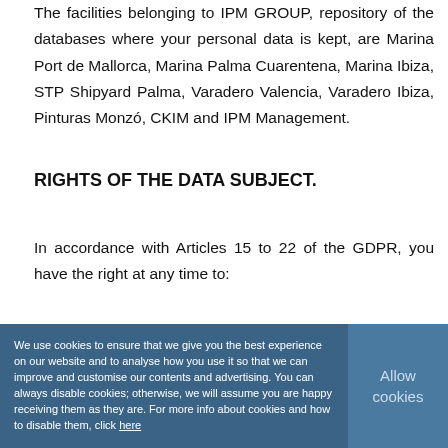The facilities belonging to IPM GROUP, repository of the databases where your personal data is kept, are Marina Port de Mallorca, Marina Palma Cuarentena, Marina Ibiza, STP Shipyard Palma, Varadero Valencia, Varadero Ibiza, Pinturas Monzó, CKIM and IPM Management.
RIGHTS OF THE DATA SUBJECT.
In accordance with Articles 15 to 22 of the GDPR, you have the right at any time to:
- access your personal data
- revoke the authorisation of the use and disclosure of your personal data
- request the cancellation of your personal data